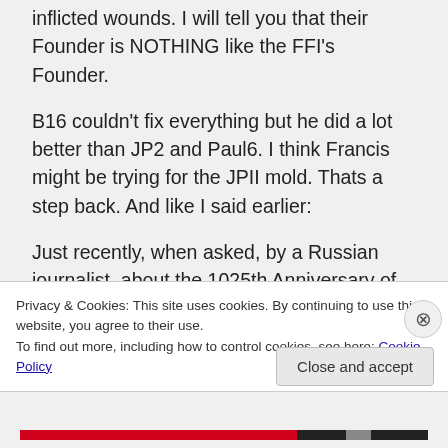inflicted wounds. I will tell you that their Founder is NOTHING like the FFI's Founder.

B16 couldn't fix everything but he did a lot better than JP2 and Paul6. I think Francis might be trying for the JPII mold. Thats a step back. And like I said earlier:

Just recently, when asked, by a Russian journalist, about the 1025th Anniversary of the Baptism of the Kievan Russ… Pope
Privacy & Cookies: This site uses cookies. By continuing to use this website, you agree to their use.
To find out more, including how to control cookies, see here: Cookie Policy